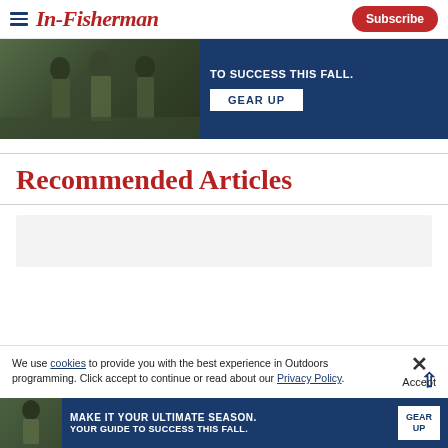In-Fisherman
[Figure (infographic): Advertisement banner showing hunters/fishermen in camouflage wading through water with text 'TO SUCCESS THIS FALL.' and a 'GEAR UP' button on dark blue background]
Recommended Articles
[Figure (other): Article card placeholder with light gray background]
We use cookies to provide you with the best experience in Outdoors programming. Click accept to continue or read about our Privacy Policy.
Advertisement
[Figure (infographic): Bottom advertisement banner showing hunter in camouflage with text 'MAKE IT YOUR ULTIMATE SEASON. YOUR GUIDE TO SUCCESS THIS FALL.' and a 'GEAR UP' button on dark blue background]